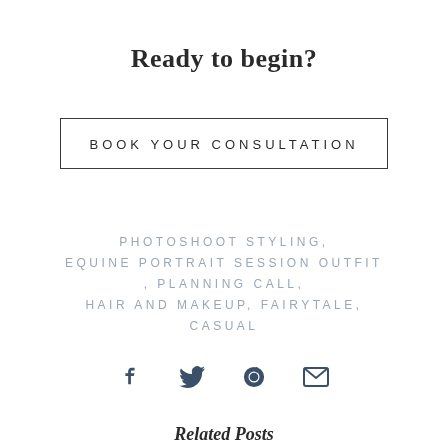Ready to begin?
BOOK YOUR CONSULTATION
PHOTOSHOOT STYLING, EQUINE PORTRAIT SESSION OUTFIT , PLANNING CALL, HAIR AND MAKEUP, FAIRYTALE, CASUAL
[Figure (infographic): Social sharing icons: Facebook, Twitter, Pinterest, Email]
Related Posts